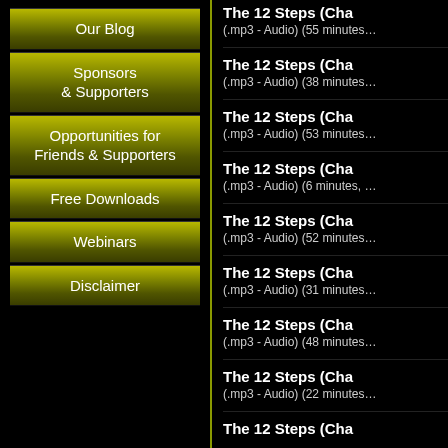Our Blog
Sponsors & Supporters
Opportunities for Friends & Supporters
Free Downloads
Webinars
Disclaimer
The 12 Steps (Cha... (.mp3 - Audio) (55 minutes...
The 12 Steps (Cha... (.mp3 - Audio) (38 minutes...
The 12 Steps (Cha... (.mp3 - Audio) (53 minutes...
The 12 Steps (Cha... (.mp3 - Audio) (6 minutes,...
The 12 Steps (Cha... (.mp3 - Audio) (52 minutes...
The 12 Steps (Cha... (.mp3 - Audio) (31 minutes...
The 12 Steps (Cha... (.mp3 - Audio) (48 minutes...
The 12 Steps (Cha... (.mp3 - Audio) (22 minutes...
The 12 Steps (Cha...